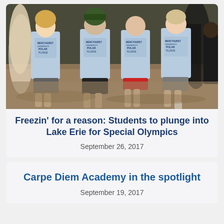[Figure (photo): Group of students running on a sandy beach wearing light blue Mercyhurst University Polar Plunge t-shirts]
Freezin’ for a reason: Students to plunge into Lake Erie for Special Olympics
September 26, 2017
Carpe Diem Academy in the spotlight
September 19, 2017